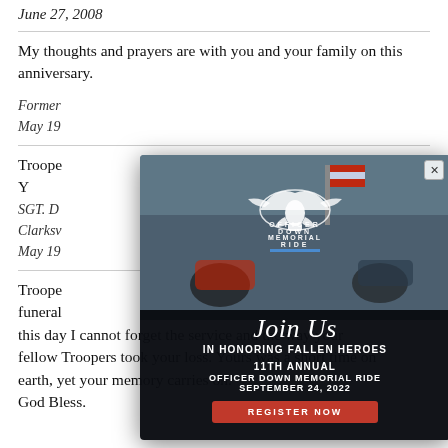June 27, 2008
My thoughts and prayers are with you and your family on this anniversary.
Former...
May 19...
Trooper... it is done. Y... u rest in peac...
SGT. D...
Clarksville...
May 19...
Trooper... t funeral... ears, to this day I cannot forget the service and the way your fellow Troopers took your loss. Yours was a short time on earth, yet your memory carries on.
God Bless.
[Figure (infographic): Modal popup for Officer Down Memorial Ride. Features an eagle logo with 'Officer Down Memorial Ride' text, 'Join Us In Honoring Fallen Heroes', '11th Annual Officer Down Memorial Ride September 24, 2022', and a red 'Register Now' button.]